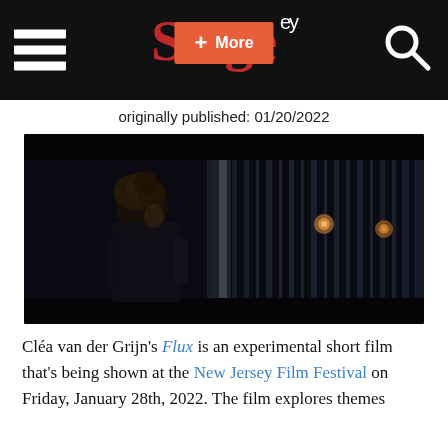Stage — navigation bar with hamburger menu, Stage logo, + More button, search icon
originally published: 01/20/2022
[Figure (photo): Film still from Flux: a person with curly hair standing near vertical draped curtains in a dark, moody scene with warm bokeh lights in background]
Cléa van der Grijn's Flux is an experimental short film that's being shown at the New Jersey Film Festival on Friday, January 28th, 2022. The film explores themes